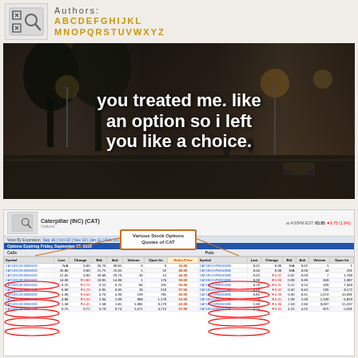Authors: A B C D E F G H I J K L M N O P Q R S T U V W X Y Z
[Figure (photo): Dark street photo overlay with bold white text reading: you treated me like an option so i left you like a choice.]
you treated me like an option so i left you like a choice.
Various Stock Options Quotes of CAT
| Symbol | Last | Change | Bid | Ask | Volume | Open Int | Strike Price | Symbol | Last | Change | Bid | Ask | Volume | Open Int |
| --- | --- | --- | --- | --- | --- | --- | --- | --- | --- | --- | --- | --- | --- | --- |
| CAT130118C00035000 | N/A | 0.00 | 26.70 | 30.65 | 0 | 0 | 35.00 | CAT130119P00035000 | 0.01 | 0.00 | N/A | 0.02 | 1 | 1 |
| CAT130118C00040000 | 26.80 | 0.00 | 21.75 | 25.05 | 1 | 52 | 40.00 | CAT130119P00040000 | 0.04 | 0.00 | N/A | 0.03 | 44 | 201 |
| CAT130118C00045000 | 22.65 | 0.00 | 16.60 | 20.70 | 10 | 15 | 45.00 | CAT130119P00045000 | 0.02 | ▼0.02 | 0.02 | 0.03 | 7 | 1,783 |
| CAT130118C00050000 | 14.00 | ▼0.80 | 13.95 | 14.30 | 1 | 176 | 50.00 | CAT130119P00050000 | 0.00 | ▼0.03 | 0.99 | 0.99 | 343 | 1,387 |
| CAT130118C00055000 | 9.25 | ▼0.70 | 9.15 | 9.25 | 84 | 101 | 55.00 | CAT130119P00055000 | 0.29 | ▼0.01 | 0.22 | 0.24 | 109 | 7,343 |
| CAT130118C00057500 | 6.90 | ▼0.70 | 6.95 | 6.95 | 16 | 210 | 57.50 | CAT130119P00057500 | 0.40 | ▼0.02 | 0.42 | 0.44 | 135 | 3,172 |
| CAT130118C00060000 | 4.90 | ▼4.60 | 4.70 | 4.90 | 199 | 781 | 60.00 | CAT130119P00060000 | 0.85 | ▼6.00 | 0.90 | 0.01 | 1,074 | 10,391 |
| CAT130118C00062500 | 3.80 | ▼0.50 | 2.94 | 2.99 | 983 | 1,170 | 62.00 | CAT130119P00062500 | 1.53 | ▼6.01 | 1.99 | 1.03 | 1,199 | 6,819 |
| CAT130118C00065000 | 1.58 | ▼6.45 | 1.58 | 1.81 | 5,381 | 3,170 | 65.00 | CAT130119P00065000 | 2.69 | ▼6.36 | 2.63 | 2.60 | 3,007 | 15,267 |
| CAT130118C00067500 | 0.75 | 0.72 | 0.73 | 0.74 | 2,471 | 4,715 | 67.00 | CAT130119P00067500 | 4.25 | ▼0.65 | 4.25 | 4.25 | 875 | 5,591 |